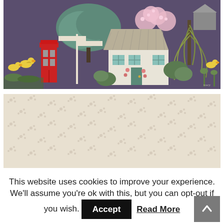[Figure (illustration): Illustrated fabric pattern on dark purple/grey background featuring a British village scene with red phone box, thatched cottage, willow tree, cherry blossom tree, ducks, and various plants and trees.]
[Figure (illustration): Close-up of a light beige/cream fabric with small repeating floral or leaf pattern texture.]
This website uses cookies to improve your experience. We'll assume you're ok with this, but you can opt-out if you wish.
Accept
Read More